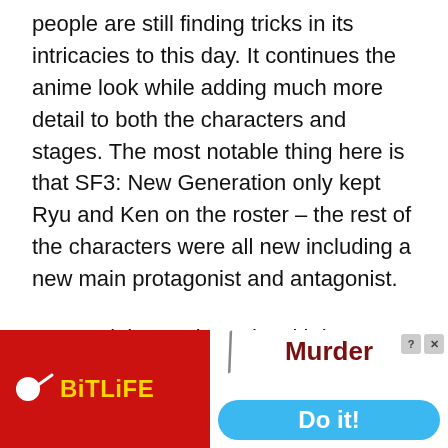people are still finding tricks in its intricacies to this day. It continues the anime look while adding much more detail to both the characters and stages. The most notable thing here is that SF3: New Generation only kept Ryu and Ken on the roster – the rest of the characters were all new including a new main protagonist and antagonist.
Street Fighter III brought with it many new additions to the combat most notably, dashing, parries and leaping attacks as well as the ability to recover in mid-air.
[Figure (screenshot): Video player thumbnail showing RIG 700HX headset on dark background with play button. Overlay shows title 'Unboxing and First Look – RIG 700HX Headset for Xbox One' on black panel with close button.]
[Figure (screenshot): Two advertisement banners: left is red BitLife ad with yellow logo text; right is white Murder game ad with blue 'Do it!' button and close controls.]